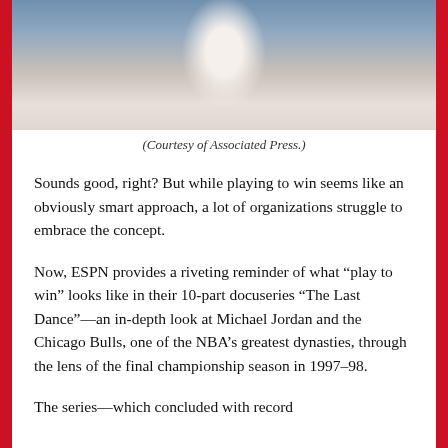[Figure (photo): Sports photo of a basketball or hockey player in a white jersey with orange/red accents, partially cropped at top]
(Courtesy of Associated Press.)
Sounds good, right? But while playing to win seems like an obviously smart approach, a lot of organizations struggle to embrace the concept.
Now, ESPN provides a riveting reminder of what “play to win” looks like in their 10-part docuseries “The Last Dance”—an in-depth look at Michael Jordan and the Chicago Bulls, one of the NBA’s greatest dynasties, through the lens of the final championship season in 1997–98.
The series—which concluded with record